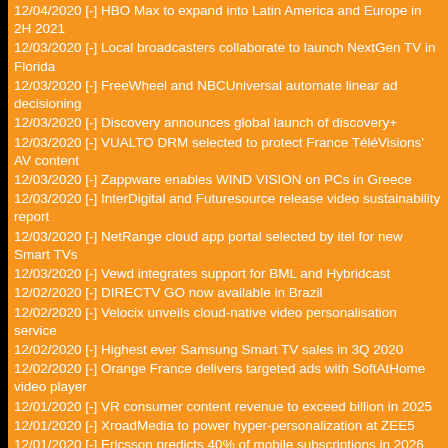12/04/2020 [-] HBO Max to expand into Latin America and Europe in 2H 2021
12/03/2020 [-] Local broadcasters collaborate to launch NextGen TV in Florida
12/03/2020 [-] FreeWheel and NBCUniversal automate linear ad decisioning
12/03/2020 [-] Discovery announces global launch of discovery+
12/03/2020 [-] VUALTO DRM selected to protect France TéléVisions' AV content
12/03/2020 [-] Zappware enables WIND VISION on PCs in Greece
12/03/2020 [-] InterDigital and Futuresource release video sustainability report
12/03/2020 [-] NetRange cloud app portal selected by itel for new Smart TVs
12/03/2020 [-] Vewd integrates support for BML and Hybridcast
12/02/2020 [-] DIRECTV GO now available in Brazil
12/02/2020 [-] Velocix unveils cloud-native video personalisation service
12/02/2020 [-] Highest ever Samsung Smart TV sales in 3Q 2020
12/02/2020 [-] Orange France delivers targeted ads with SoftAtHome video player
12/01/2020 [-] VR consumer content revenue to exceed billion in 2025
12/01/2020 [-] XroadMedia to power hyper-personalization at ZEE5
12/01/2020 [-] Ericsson predicts 40% of mobile subscriptions in 2026 will be 5G
12/01/2020 [-] From Thailand To Indonesia, Taxes Tighten for Digital Businesses
11/30/2020 [-] Bitmovin and OKAST team up to deliver live and VOD streaming